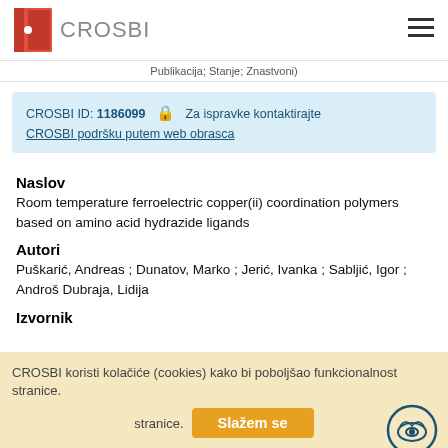CROSBI
Publikacija; Stanje; Znastvoni)
CROSBI ID: 1186099 🔒 Za ispravke kontaktirajte CROSBI podršku putem web obrasca
Naslov
Room temperature ferroelectric copper(ii) coordination polymers based on amino acid hydrazide ligands
Autori
Puškarić, Andreas ; Dunatov, Marko ; Jerić, Ivanka ; Sabljić, Igor ; Androš Dubraja, Lidija
Izvornik
CROSBI koristi kolačiće (cookies) kako bi poboljšao funkcionalnost stranice.
Slažem se